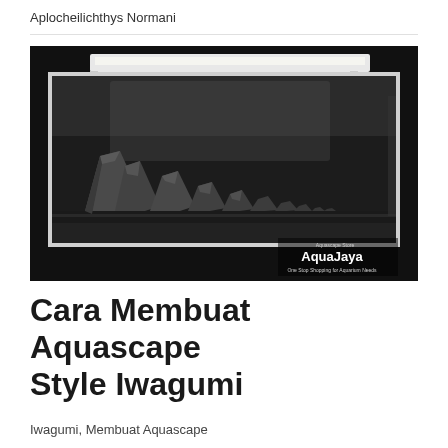Aplocheilichthys Normani
[Figure (photo): Black and white photograph of an aquascape aquarium with rock formations (Iwagumi style) and LED lighting on top. AquaJaya branding visible in bottom right corner with text 'One Stop Shopping for Aquarium Needs'.]
Cara Membuat Aquascape Style Iwagumi
Iwagumi, Membuat Aquascape